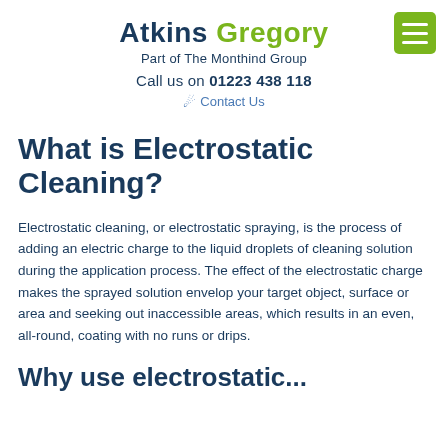Atkins Gregory – Part of The Monthind Group – Call us on 01223 438 118 – Contact Us
What is Electrostatic Cleaning?
Electrostatic cleaning, or electrostatic spraying, is the process of adding an electric charge to the liquid droplets of cleaning solution during the application process. The effect of the electrostatic charge makes the sprayed solution envelop your target object, surface or area and seeking out inaccessible areas, which results in an even, all-round, coating with no runs or drips.
Why use electrostatic...